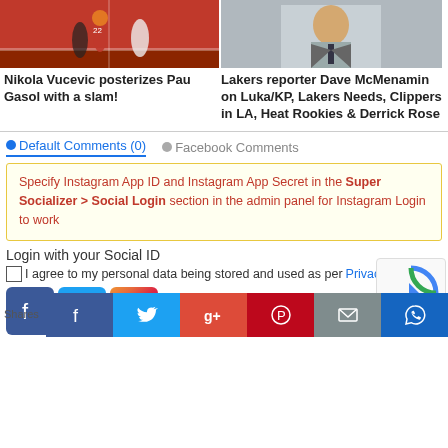[Figure (photo): Basketball game photo - Vucevic posterizing Gasol]
[Figure (photo): Portrait photo of Dave McMenamin]
Nikola Vucevic posterizes Pau Gasol with a slam!
Lakers reporter Dave McMenamin on Luka/KP, Lakers Needs, Clippers in LA, Heat Rookies & Derrick Rose
Default Comments (0)
Facebook Comments
Specify Instagram App ID and Instagram App Secret in the Super Socializer > Social Login section in the admin panel for Instagram Login to work
Login with your Social ID
I agree to my personal data being stored and used as per Privacy Policy
[Figure (logo): Facebook social login icon]
[Figure (logo): Twitter social login icon]
[Figure (logo): Instagram social login icon]
[Figure (other): reCAPTCHA widget]
Shares
[Figure (other): Social share bar: Facebook, Twitter, Google+, Pinterest, Email, WhatsApp]